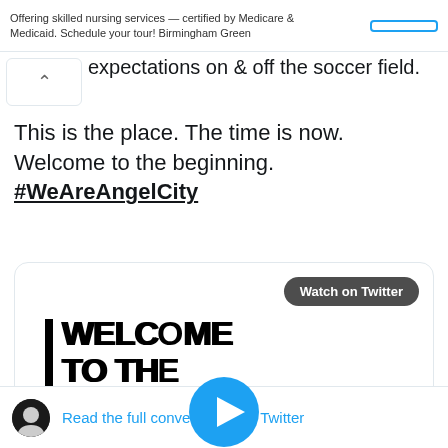Offering skilled nursing services — certified by Medicare & Medicaid. Schedule your tour! Birmingham Green
expectations on & off the soccer field.
This is the place. The time is now. Welcome to the beginning. #WeAreAngelCity
[Figure (screenshot): Video thumbnail showing 'WELCOME TO THE BEGINNING' text with a vertical black bar on the left and 'ANGEL CITY' logo in bottom right, with a blue play button overlay. Button labeled 'Watch on Twitter' in top right of card.]
12:31 PM · Jul 21, 2020
Read the full conversation on Twitter